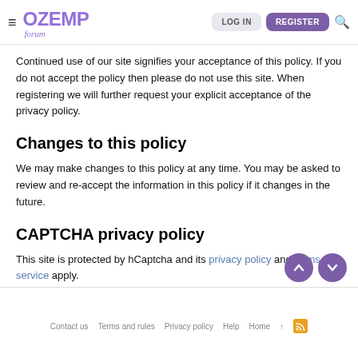OZEMP forum — LOG IN | REGISTER
Continued use of our site signifies your acceptance of this policy. If you do not accept the policy then please do not use this site. When registering we will further request your explicit acceptance of the privacy policy.
Changes to this policy
We may make changes to this policy at any time. You may be asked to review and re-accept the information in this policy if it changes in the future.
CAPTCHA privacy policy
This site is protected by hCaptcha and its privacy policy and terms of service apply.
Contact us   Terms and rules   Privacy policy   Help   Home